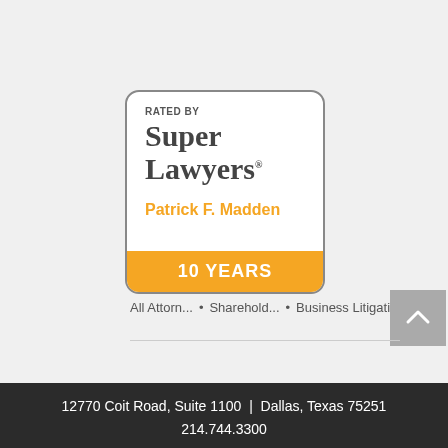[Figure (logo): Super Lawyers badge: 'RATED BY Super Lawyers — Patrick F. Madden — 10 YEARS' in a rounded rectangle with orange accent banner]
All Attorn... • Sharehold... • Business Litigati....
12770 Coit Road, Suite 1100  |  Dallas, Texas 75251
214.744.3300